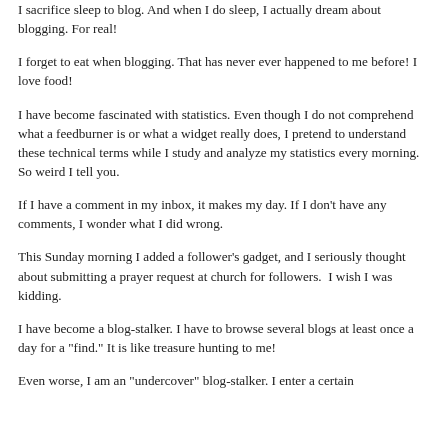I sacrifice sleep to blog. And when I do sleep, I actually dream about blogging. For real!
I forget to eat when blogging. That has never ever happened to me before! I love food!
I have become fascinated with statistics. Even though I do not comprehend what a feedburner is or what a widget really does, I pretend to understand these technical terms while I study and analyze my statistics every morning. So weird I tell you.
If I have a comment in my inbox, it makes my day. If I don't have any comments, I wonder what I did wrong.
This Sunday morning I added a follower's gadget, and I seriously thought about submitting a prayer request at church for followers.  I wish I was kidding.
I have become a blog-stalker. I have to browse several blogs at least once a day for a "find." It is like treasure hunting to me!
Even worse, I am an "undercover" blog-stalker. I enter a certain blog in the worst way, and then I don't leave a comment.